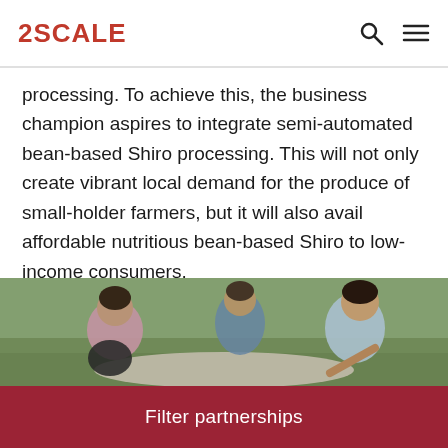2SCALE
processing. To achieve this, the business champion aspires to integrate semi-automated bean-based Shiro processing. This will not only create vibrant local demand for the produce of small-holder farmers, but it will also avail affordable nutritious bean-based Shiro to low-income consumers.
[Figure (photo): Group of people sitting on the ground outdoors, appearing to be in a community meeting or discussion, looking at papers or materials spread on the ground.]
Filter partnerships